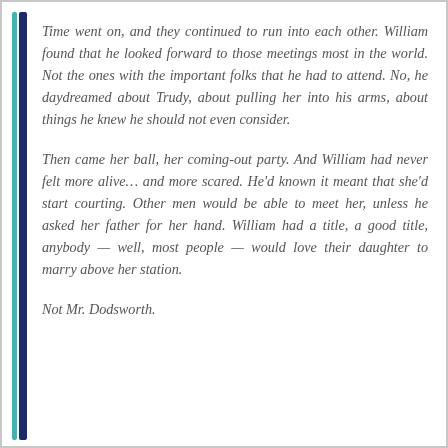Time went on, and they continued to run into each other. William found that he looked forward to those meetings most in the world. Not the ones with the important folks that he had to attend. No, he daydreamed about Trudy, about pulling her into his arms, about things he knew he should not even consider.
Then came her ball, her coming-out party. And William had never felt more alive… and more scared. He'd known it meant that she'd start courting. Other men would be able to meet her, unless he asked her father for her hand. William had a title, a good title, anybody — well, most people — would love their daughter to marry above her station.
Not Mr. Dodsworth.